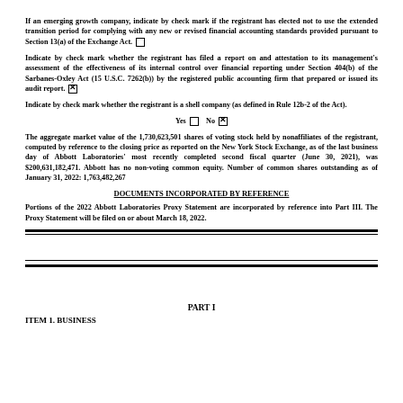If an emerging growth company, indicate by check mark if the registrant has elected not to use the extended transition period for complying with any new or revised financial accounting standards provided pursuant to Section 13(a) of the Exchange Act. ☐
Indicate by check mark whether the registrant has filed a report on and attestation to its management's assessment of the effectiveness of its internal control over financial reporting under Section 404(b) of the Sarbanes-Oxley Act (15 U.S.C. 7262(b)) by the registered public accounting firm that prepared or issued its audit report. ☒
Indicate by check mark whether the registrant is a shell company (as defined in Rule 12b-2 of the Act).
Yes ☐   No ☒
The aggregate market value of the 1,730,623,501 shares of voting stock held by nonaffiliates of the registrant, computed by reference to the closing price as reported on the New York Stock Exchange, as of the last business day of Abbott Laboratories' most recently completed second fiscal quarter (June 30, 2021), was $200,631,182,471. Abbott has no non-voting common equity. Number of common shares outstanding as of January 31, 2022: 1,763,482,267
DOCUMENTS INCORPORATED BY REFERENCE
Portions of the 2022 Abbott Laboratories Proxy Statement are incorporated by reference into Part III. The Proxy Statement will be filed on or about March 18, 2022.
PART I
ITEM 1. BUSINESS